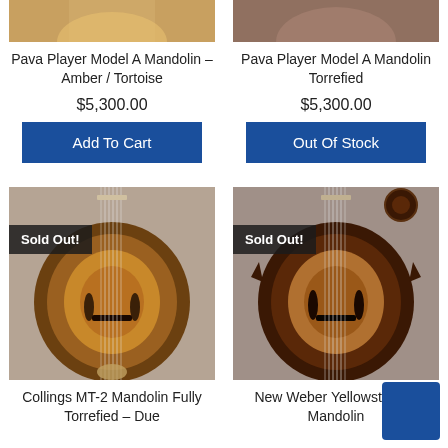[Figure (photo): Top portion of Pava Player Model A Mandolin in Amber/Tortoise finish]
[Figure (photo): Top portion of Pava Player Model A Mandolin Torrefied]
Pava Player Model A Mandolin – Amber / Tortoise
Pava Player Model A Mandolin Torrefied
$5,300.00
$5,300.00
Add To Cart
Out Of Stock
[Figure (photo): Collings MT-2 Mandolin body, top-down view, Sold Out badge overlay]
[Figure (photo): New Weber Yellowstone F Mandolin body, top-down view, Sold Out badge overlay]
Collings MT-2 Mandolin Fully Torrefied – Due
New Weber Yellowstone F Mandolin